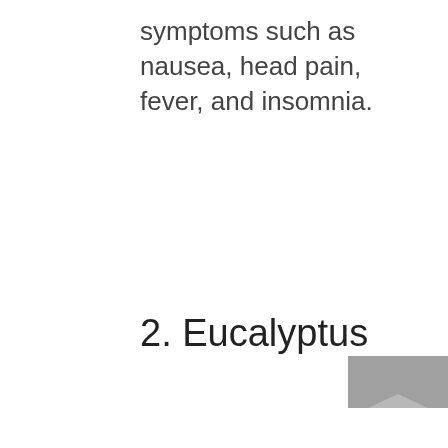symptoms such as nausea, head pain, fever, and insomnia.
2. Eucalyptus
[Figure (photo): Partially visible image in the lower right corner, cropped at page edge]